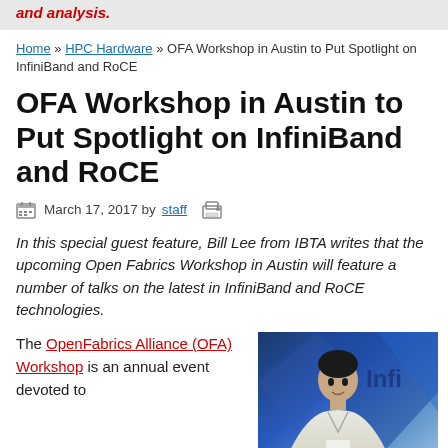and analysis.
Home » HPC Hardware » OFA Workshop in Austin to Put Spotlight on InfiniBand and RoCE
OFA Workshop in Austin to Put Spotlight on InfiniBand and RoCE
March 17, 2017 by staff
In this special guest feature, Bill Lee from IBTA writes that the upcoming Open Fabrics Workshop in Austin will feature a number of talks on the latest in InfiniBand and RoCE technologies.
The OpenFabrics Alliance (OFA) Workshop is an annual event devoted to
[Figure (photo): A man in a white shirt presenting at a conference, with a blue geometric background and the text 'Infi' visible on the right side.]